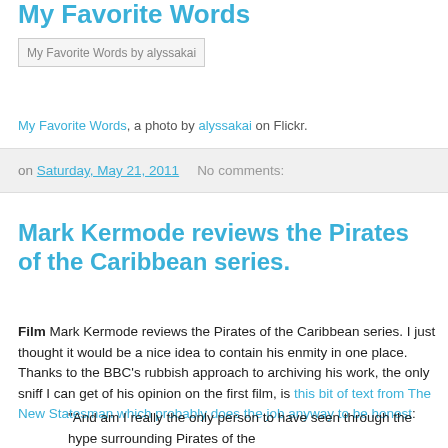My Favorite Words
[Figure (photo): My Favorite Words by alyssakai — embedded image placeholder with alt text]
My Favorite Words, a photo by alyssakai on Flickr.
on Saturday, May 21, 2011   No comments:
Mark Kermode reviews the Pirates of the Caribbean series.
Film Mark Kermode reviews the Pirates of the Caribbean series. I just thought it would be a nice idea to contain his enmity in one place. Thanks to the BBC's rubbish approach to archiving his work, the only sniff I can get of his opinion on the first film, is this bit of text from The New Statesman which probably does the job anyway to be honest:
"And am I really the only person to have seen through the hype surrounding Pirates of the